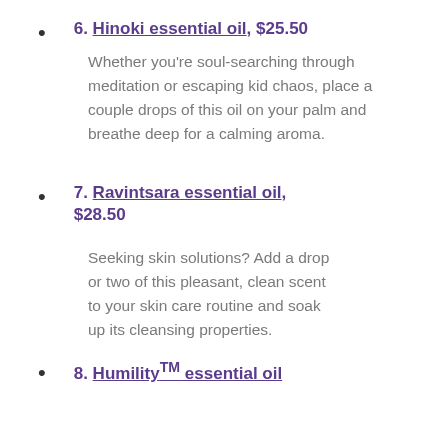6. Hinoki essential oil, $25.50
Whether you're soul-searching through meditation or escaping kid chaos, place a couple drops of this oil on your palm and breathe deep for a calming aroma.
7. Ravintsara essential oil, $28.50
Seeking skin solutions? Add a drop or two of this pleasant, clean scent to your skin care routine and soak up its cleansing properties.
8. Humility™ essential oil